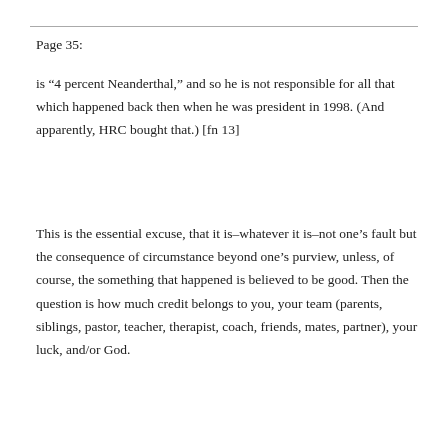Page 35:
is “4 percent Neanderthal,” and so he is not responsible for all that which happened back then when he was president in 1998. (And apparently, HRC bought that.) [fn 13]
This is the essential excuse, that it is–whatever it is–not one’s fault but the consequence of circumstance beyond one’s purview, unless, of course, the something that happened is believed to be good. Then the question is how much credit belongs to you, your team (parents, siblings, pastor, teacher, therapist, coach, friends, mates, partner), your luck, and/or God.